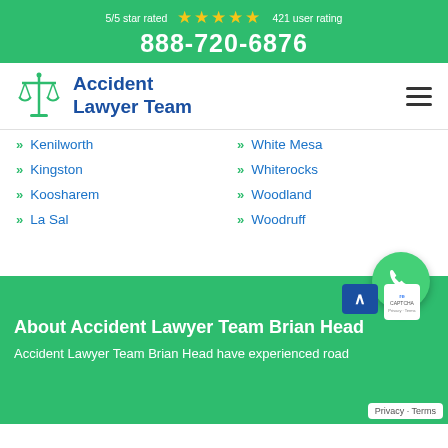5/5 star rated ★★★★★ 421 user rating 888-720-6876
[Figure (logo): Accident Lawyer Team logo with scales of justice icon]
Kenilworth
White Mesa
Kingston
Whiterocks
Koosharem
Woodland
La Sal
Woodruff
About Accident Lawyer Team Brian Head
Accident Lawyer Team Brian Head have experienced road